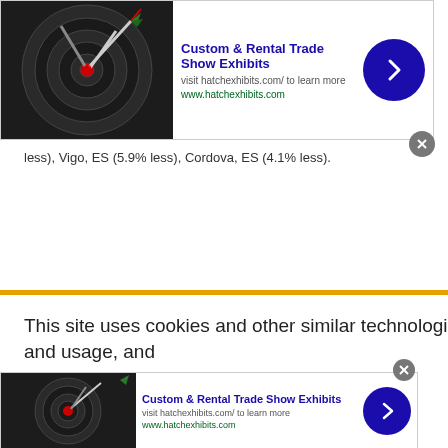[Figure (screenshot): Advertisement banner for Custom & Rental Trade Show Exhibits with dartboard image, blue arrow button, and close button]
less), Vigo, ES (5.9% less), Cordova, ES (4.1% less).
[Figure (screenshot): Cookie consent banner: This site uses cookies and other similar technologies to provide site functionality, analyze traffic and usage, and ...]
[Figure (screenshot): Second advertisement banner for Custom & Rental Trade Show Exhibits with dartboard image, blue arrow button, and close button]